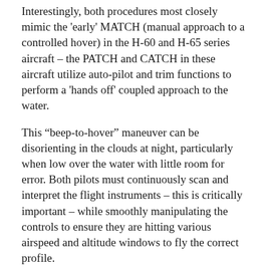Interestingly, both procedures most closely mimic the 'early' MATCH (manual approach to a controlled hover) in the H-60 and H-65 series aircraft – the PATCH and CATCH in these aircraft utilize auto-pilot and trim functions to perform a 'hands off' coupled approach to the water.
This "beep-to-hover" maneuver can be disorienting in the clouds at night, particularly when low over the water with little room for error. Both pilots must continuously scan and interpret the flight instruments – this is critically important – while smoothly manipulating the controls to ensure they are hitting various airspeed and altitude windows to fly the correct profile.
At the completion of this very demanding approach, the helicopter crew found itself in nearly "zero-zero" weather but had executed the approach with such precision that the MK-58s were located. 10 Barely establishing visual reference with the ocean surface from a 40-foot hover, the helicopter